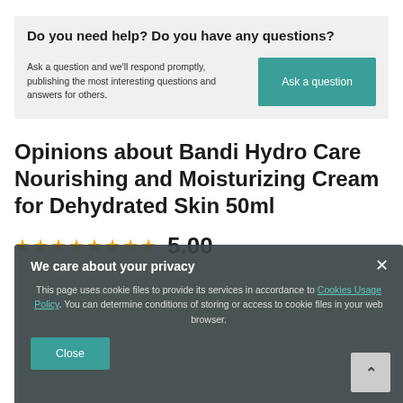Do you need help? Do you have any questions?
Ask a question and we'll respond promptly, publishing the most interesting questions and answers for others.
Opinions about Bandi Hydro Care Nourishing and Moisturizing Cream for Dehydrated Skin 50ml
★★★★★★★★ 5.00
We care about your privacy
This page uses cookie files to provide its services in accordance to Cookies Usage Policy. You can determine conditions of storing or access to cookie files in your web browser.
Close